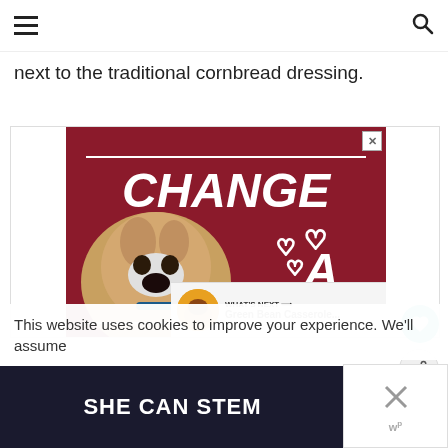☰  🔍
next to the traditional cornbread dressing.
[Figure (photo): Advertisement banner showing a dog with text 'CHANGE A LIFE' on a dark red background with heart icons]
This website uses cookies to improve your experience. We'll assume
[Figure (photo): Advertisement banner with dark background and text 'SHE CAN STEM']